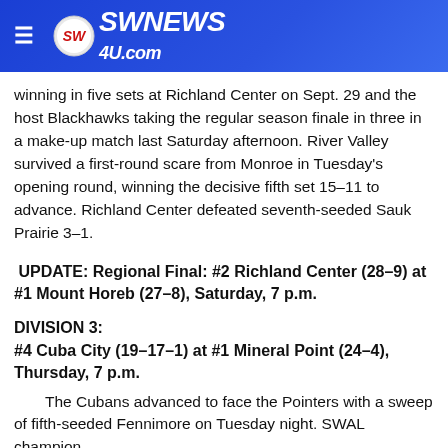SWNews4U.com
winning in five sets at Richland Center on Sept. 29 and the host Blackhawks taking the regular season finale in three in a make-up match last Saturday afternoon. River Valley survived a first-round scare from Monroe in Tuesday's opening round, winning the decisive fifth set 15–11 to advance. Richland Center defeated seventh-seeded Sauk Prairie 3–1.
UPDATE: Regional Final: #2 Richland Center (28–9) at #1 Mount Horeb (27–8), Saturday, 7 p.m.
DIVISION 3:
#4 Cuba City (19–17–1) at #1 Mineral Point (24–4), Thursday, 7 p.m.
The Cubans advanced to face the Pointers with a sweep of fifth-seeded Fennimore on Tuesday night. SWAL champion